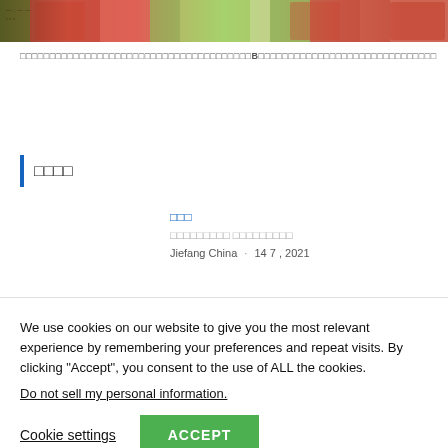[Figure (photo): Photo of people in red shirts on green grass field]
□□□□□□□□□□□□□□□□□□□□□□□□□□□□□□□□□□□□□□□B□□□□□□□□□□□□□□□□□□□□□□□□□□□□□□
□□□□
□□□
□□□□□□□□□ □□□□□□□□□
Jiefang China · 14 7 , 2021
We use cookies on our website to give you the most relevant experience by remembering your preferences and repeat visits. By clicking "Accept", you consent to the use of ALL the cookies.
Do not sell my personal information.
Cookie settings   ACCEPT